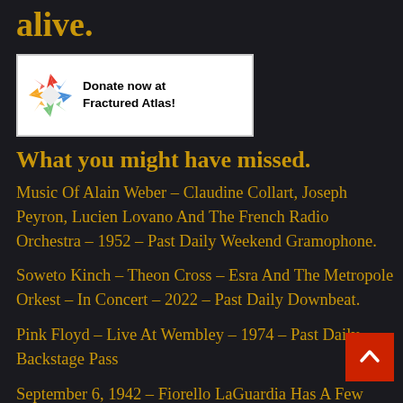alive.
[Figure (other): Donate now at Fractured Atlas! banner with colorful star/arrow logo]
What you might have missed.
Music Of Alain Weber – Claudine Collart, Joseph Peyron, Lucien Lovano And The French Radio Orchestra – 1952 – Past Daily Weekend Gramophone.
Soweto Kinch – Theon Cross – Esra And The Metropole Orkest – In Concert – 2022 – Past Daily Downbeat.
Pink Floyd – Live At Wembley – 1974 – Past Daily Backstage Pass
September 6, 1942 – Fiorello LaGuardia Has A Few